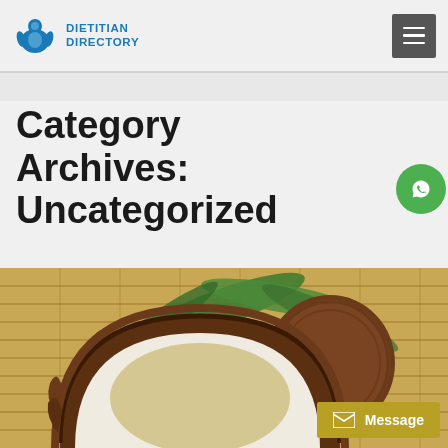Dietitian Directory
Category Archives: Uncategorized
[Figure (photo): Coconut cut in half showing coconut oil, with whole coconut and palm leaves on a bamboo mat background]
Message